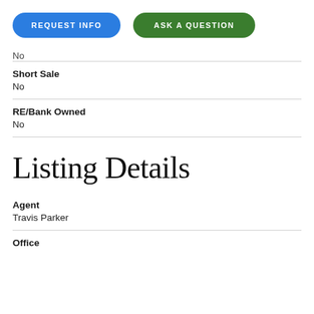[Figure (other): Two buttons: 'REQUEST INFO' (blue pill) and 'ASK A QUESTION' (green pill)]
No
Short Sale
No
RE/Bank Owned
No
Listing Details
Agent
Travis Parker
Office